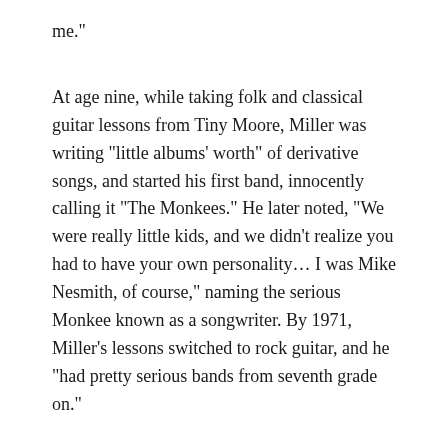me."
At age nine, while taking folk and classical guitar lessons from Tiny Moore, Miller was writing "little albums' worth" of derivative songs, and started his first band, innocently calling it "The Monkees." He later noted, "We were really little kids, and we didn't realize you had to have your own personality… I was Mike Nesmith, of course," naming the serious Monkee known as a songwriter. By 1971, Miller's lessons switched to rock guitar, and he "had pretty serious bands from seventh grade on."